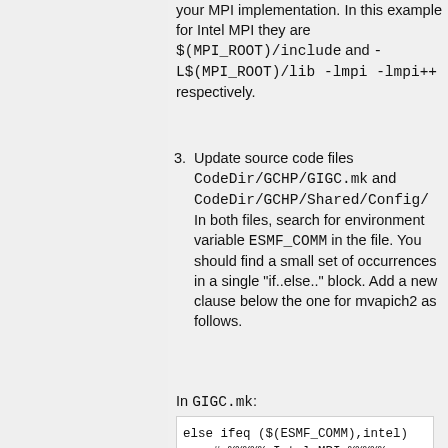your MPI implementation. In this example for Intel MPI they are $(MPI_ROOT)/include and -L$(MPI_ROOT)/lib -lmpi -lmpi++ respectively.
3. Update source code files CodeDir/GCHP/GIGC.mk and CodeDir/GCHP/Shared/Config/ In both files, search for environment variable ESMF_COMM in the file. You should find a small set of occurrences in a single "if..else.." block. Add a new clause below the one for mvapich2 as follows.
In GIGC.mk:
else ifeq ($(ESMF_COMM),intel)
    # %%%%% Intel MPI %%%%%
    MPI_LIB     := -L$(MPI_ROOT)